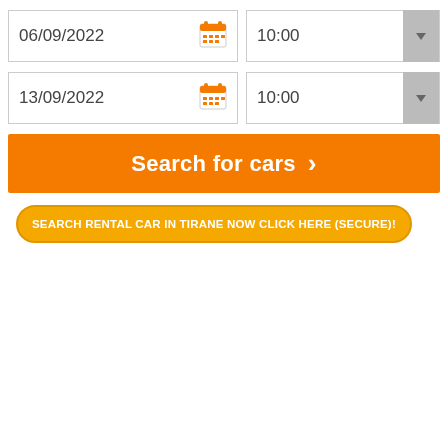[Figure (screenshot): Car rental search form with two date fields (06/09/2022 and 13/09/2022), two time dropdowns (10:00), a Search for cars button, and a CTA link button.]
06/09/2022
10:00
13/09/2022
10:00
Search for cars ›
SEARCH RENTAL CAR IN TIRANE NOW CLICK HERE (SECURE)!